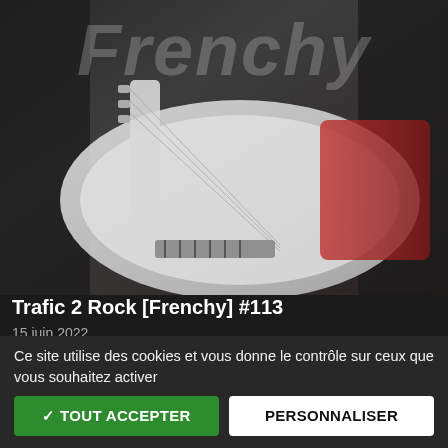[Figure (photo): Guitar image with 'Frenchy' text watermark overlay - white electric guitar on dark background with red accents]
Trafic 2 Rock [Frenchy] #113
15 juin 2022
[Figure (photo): Trafic 2 Rock promotional image with text 'L'esprit rock underground/alternatif ...' and '" Sous licence Libre "' on black background, with eye close-up image below]
Ce site utilise des cookies et vous donne le contrôle sur ceux que vous souhaitez activer
✓ TOUT ACCEPTER
PERSONNALISER